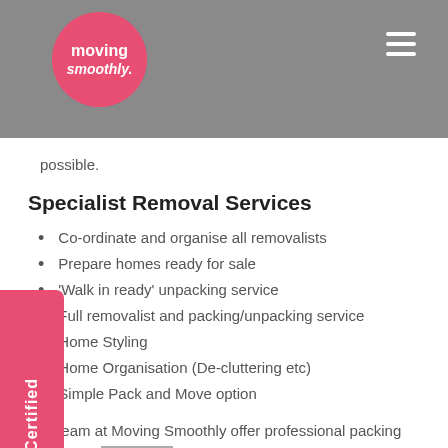Moving Smoothly — navigation header
possible.
Specialist Removal Services
Co-ordinate and organise all removalists
Prepare homes ready for sale
'Walk in ready' unpacking service
Full removalist and packing/unpacking service
Home Styling
Home Organisation (De-cluttering etc)
Simple Pack and Move option
Our team at Moving Smoothly offer professional packing services in Bellevue Hill and are here to help with all tricky or simple removalist needs. Contact Moving Smoothly today with any questions or to ensure your move date is booked and